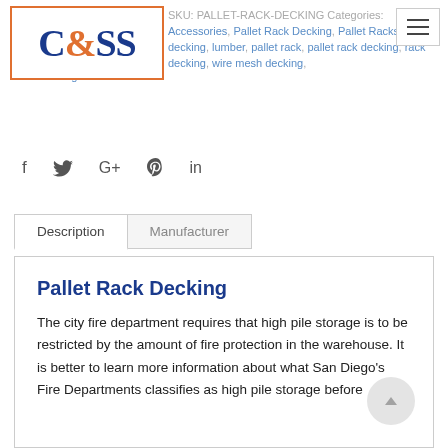SKU: PALLET-RACK-DECKING Categories: Accessories, Pallet Rack Decking, Pallet Racks Tags: decking, lumber, pallet rack, pallet rack decking, rack decking, wire mesh decking, wood decking
[Figure (logo): C&SS logo in blue with orange ampersand inside an orange-bordered rectangle]
f   Twitter   G+   Pinterest   in
Description   Manufacturer
Pallet Rack Decking
The city fire department requires that high pile storage is to be restricted by the amount of fire protection in the warehouse. It is better to learn more information about what San Diego's Fire Departments classifies as high pile storage before